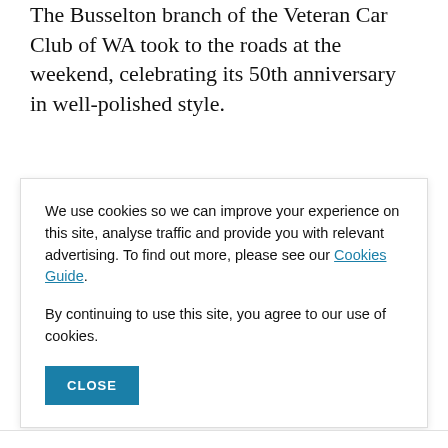The Busselton branch of the Veteran Car Club of WA took to the roads at the weekend, celebrating its 50th anniversary in well-polished style.
We use cookies so we can improve your experience on this site, analyse traffic and provide you with relevant advertising. To find out more, please see our Cookies Guide. By continuing to use this site, you agree to our use of cookies.
...